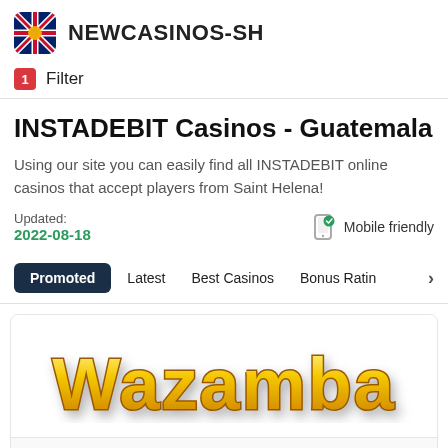NEWCASINOS-SH
1 Filter
INSTADEBIT Casinos - Guatemala
Using our site you can easily find all INSTADEBIT online casinos that accept players from Saint Helena!
Updated: 2022-08-18
Mobile friendly
Promoted  Latest  Best Casinos  Bonus Rating
[Figure (logo): Wazamba casino logo in large yellow 3D bubble text]
Launched 15.Oct.2019    3 ★